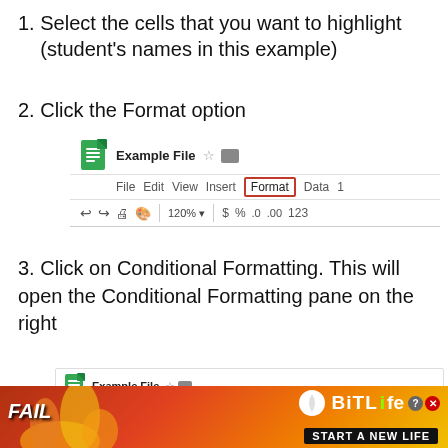1. Select the cells that you want to highlight (student's names in this example)
2. Click the Format option
[Figure (screenshot): Google Sheets menu bar screenshot showing File, Edit, View, Insert, Format (highlighted with red border), Data menu items and toolbar with 120% zoom, $, %, .0, .00, 123 buttons]
3. Click on Conditional Formatting. This will open the Conditional Formatting pane on the right
[Figure (screenshot): Google Sheets menu bar screenshot showing File, Edit, View, Insert, Format (highlighted), Data, Tools, Add-ons, Help menu items and toolbar with 150% zoom and Theme option visible]
[Figure (infographic): Advertisement banner for BitLife game showing FAIL text, animated character, and START A NEW LIFE tagline]